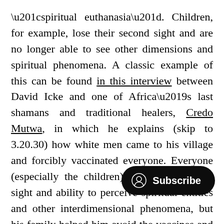“spiritual euthanasia”. Children, for example, lose their second sight and are no longer able to see other dimensions and spiritual phenomena. A classic example of this can be found in this interview between David Icke and one of Africa’s last shamans and traditional healers, Credo Mutwa, in which he explains (skip to 3.20.30) how white men came to his village and forcibly vaccinated everyone. Everyone (especially the children) lost their spiritual sight and ability to perceive spiritual entities and other interdimensional phenomena, but his family helped him avoid the vaccines and he, fortunately, retained his spiritual senses.
Here are 10 ways to detox from [Subscribe overlay] (including the COVID vaccines) and deactiva[te] nanotechnology. This is a very holistic and spiritual